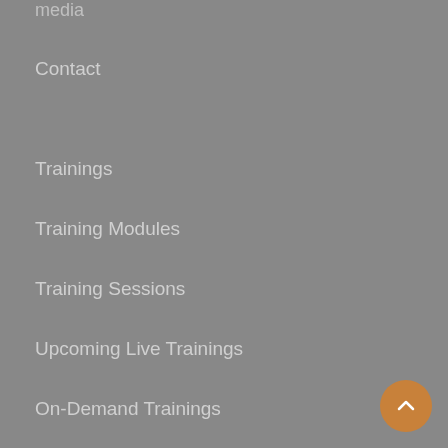media
Contact
Trainings
Training Modules
Training Sessions
Upcoming Live Trainings
On-Demand Trainings
Services
Investigations
Compliance Reviews